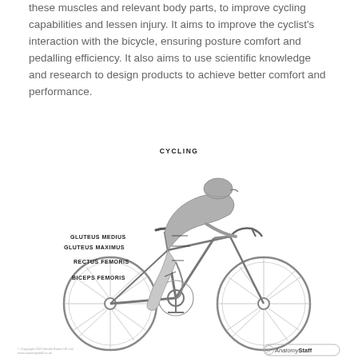these muscles and relevant body parts, to improve cycling capabilities and lessen injury. It aims to improve the cyclist's interaction with the bicycle, ensuring posture comfort and pedalling efficiency. It also aims to use scientific knowledge and research to design products to achieve better comfort and performance.
[Figure (illustration): Anatomical illustration of a cyclist on a road bicycle labeled 'CYCLING', with muscle groups labeled: GLUTEUS MEDIUS, GLUTEUS MAXIMUS, RECTUS FEMORIS, BICEPS FEMORIS. Copyright credit at bottom left and AnatomyStaff logo at bottom right.]